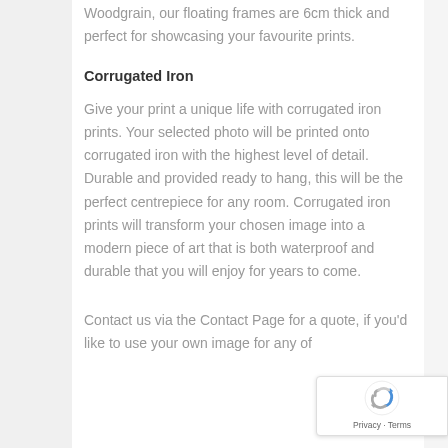Woodgrain, our floating frames are 6cm thick and perfect for showcasing your favourite prints.
Corrugated Iron
Give your print a unique life with corrugated iron prints. Your selected photo will be printed onto corrugated iron with the highest level of detail. Durable and provided ready to hang, this will be the perfect centrepiece for any room. Corrugated iron prints will transform your chosen image into a modern piece of art that is both waterproof and durable that you will enjoy for years to come.
Contact us via the Contact Page for a quote, if you'd like to use your own image for any of